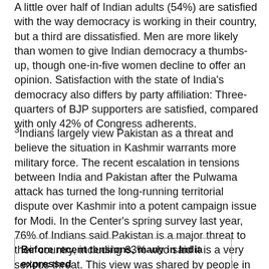A little over half of Indian adults (54%) are satisfied with the way democracy is working in their country, but a third are dissatisfied. Men are more likely than women to give Indian democracy a thumbs-up, though one-in-five women decline to offer an opinion. Satisfaction with the state of India's democracy also differs by party affiliation: Three-quarters of BJP supporters are satisfied, compared with only 42% of Congress adherents.
3Indians largely view Pakistan as a threat and believe the situation in Kashmir warrants more military force. The recent escalation in tensions between India and Pakistan after the Pulwama attack has turned the long-running territorial dispute over Kashmir into a potent campaign issue for Modi. In the Center's spring survey last year, 76% of Indians said Pakistan is a major threat to their country, including 63% who said it is a very serious threat. This view was shared by people in rural areas and urban centers, supporters of both the prime minister's BJP and the Congress party, as well as Indians across age groups. Additionally, 65% said terrorism is a very big problem in India.
Before recent tensions, many in India expressed